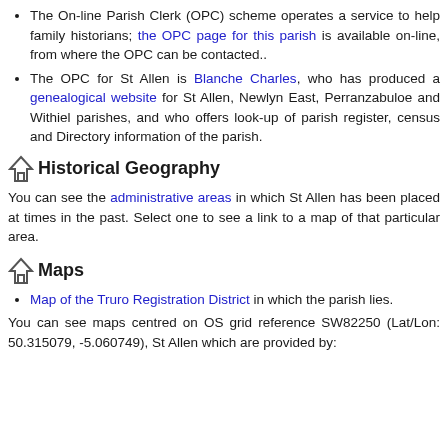The On-line Parish Clerk (OPC) scheme operates a service to help family historians; the OPC page for this parish is available on-line, from where the OPC can be contacted..
The OPC for St Allen is Blanche Charles, who has produced a genealogical website for St Allen, Newlyn East, Perranzabuloe and Withiel parishes, and who offers look-up of parish register, census and Directory information of the parish.
Historical Geography
You can see the administrative areas in which St Allen has been placed at times in the past. Select one to see a link to a map of that particular area.
Maps
Map of the Truro Registration District in which the parish lies.
You can see maps centred on OS grid reference SW82250 (Lat/Lon: 50.315079, -5.060749), St Allen which are provided by: